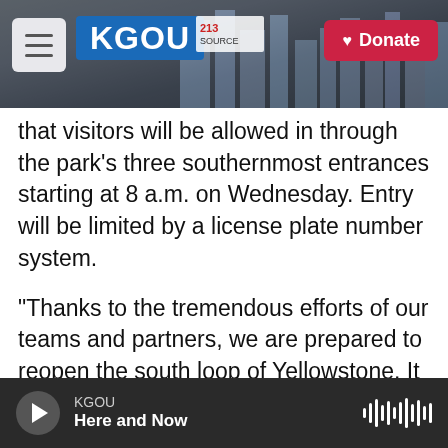KGOU | Donate
that visitors will be allowed in through the park's three southernmost entrances starting at 8 a.m. on Wednesday. Entry will be limited by a license plate number system.
"Thanks to the tremendous efforts of our teams and partners, we are prepared to reopen the south loop of Yellowstone. It is impossible to reopen only one loop in the summer without implementing some type of system to manage visitation," said Cam Sholly, the park's superintendent, in a press release.
KGOU | Here and Now